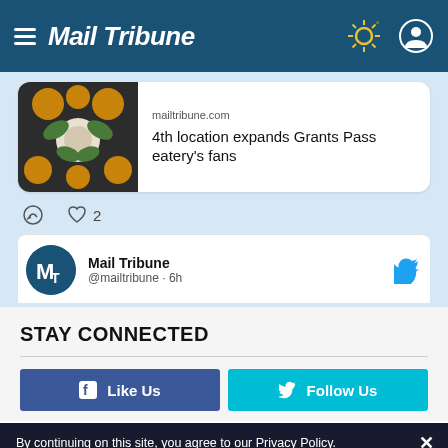Mail Tribune
[Figure (screenshot): Tweet card showing a food image with text: mailtribune.com — 4th location expands Grants Pass eatery's fans. With reply and 2 likes icons below.]
[Figure (screenshot): Second tweet from Mail Tribune @mailtribune · 6h with Mail Tribune logo avatar and Twitter bird icon]
STAY CONNECTED
Like Us
Follow Us
By continuing on this site, you agree to our Privacy Policy.